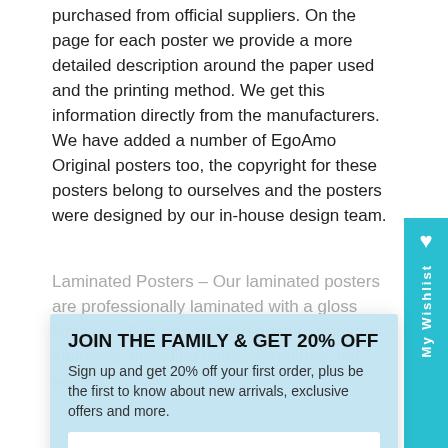purchased from official suppliers. On the page for each poster we provide a more detailed description around the paper used and the printing method. We get this information directly from the manufacturers. We have added a number of EgoAmo Original posters too, the copyright for these posters belong to ourselves and the posters were designed by our in-house design team.
Laminated Posters – Our laminated posters are professionally laminated with a gloss laminate. This protects the posters from the elements, including damp, scratches and tearing.
Laminated... laminated with a gloss laminate and vacuum pressed onto a masonite board. This is then framed with a faux wood finish frame, which is light and durable and is available in a number of colours and finishes.
Sizes – Our posters come in a range of sizes. These are indicated in the details on each poster's page. We do indicate how the poster size compares to standard paper sizes, but as a number of our posters are the actual movie or promotional music or event posters, the sizes often don't correlate standard paper
[Figure (infographic): Newsletter signup modal overlay with cyan/light blue background. Contains heading 'JOIN THE FAMILY & GET 20% OFF', subtext about signing up for 20% off first order, a Name input field, an Email address input field, and a cyan SIGN UP button.]
[Figure (infographic): Cyan wishlist sidebar tab on the right edge with a heart icon and 'My Wishlist' text rotated vertically.]